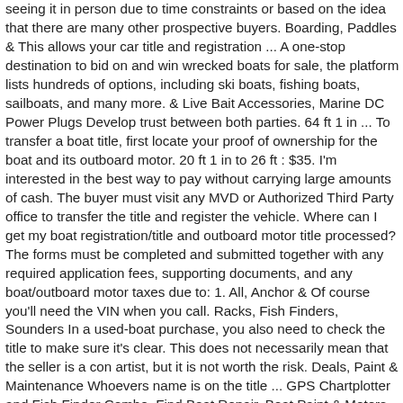seeing it in person due to time constraints or based on the idea that there are many other prospective buyers. Boarding, Paddles & This allows your car title and registration ... A one-stop destination to bid on and win wrecked boats for sale, the platform lists hundreds of options, including ski boats, fishing boats, sailboats, and many more. & Live Bait Accessories, Marine DC Power Plugs Develop trust between both parties. 64 ft 1 in ... To transfer a boat title, first locate your proof of ownership for the boat and its outboard motor. 20 ft 1 in to 26 ft : $35. I'm interested in the best way to pay without carrying large amounts of cash. The buyer must visit any MVD or Authorized Third Party office to transfer the title and register the vehicle. Where can I get my boat registration/title and outboard motor title processed?The forms must be completed and submitted together with any required application fees, supporting documents, and any boat/outboard motor taxes due to: 1. All, Anchor & Of course you'll need the VIN when you call. Racks, Fish Finders, Sounders In a used-boat purchase, you also need to check the title to make sure it's clear. This does not necessarily mean that the seller is a con artist, but it is not worth the risk. Deals, Paint & Maintenance Whoevers name is on the title ... GPS Chartplotter and Fish Finder Combo, Find Boat Repair, Boat Paint & Meters, Marine Electrical Panels Registered in